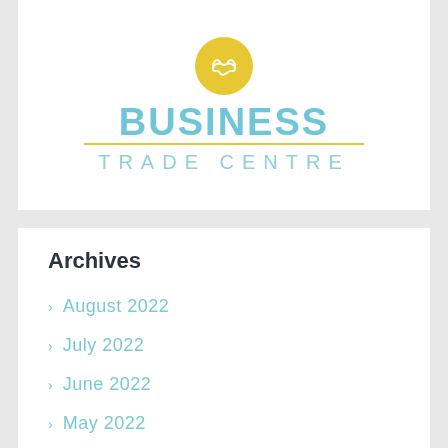[Figure (logo): Business Trade Centre logo with yellow handshake circle icon, bold teal BUSINESS text, gold horizontal divider line, and lighter teal TRADE CENTRE text below]
Archives
August 2022
July 2022
June 2022
May 2022
April 2022